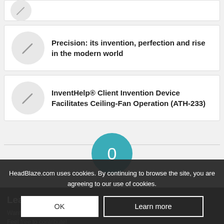[Figure (other): Partial card with pencil icon circle at top, cropped]
Precision: its invention, perfection and rise in the modern world
InventHelp® Client Invention Device Facilitates Ceiling-Fan Operation (ATH-233)
0 REPLIES
Leave a Reply
Want to join the discussion? Feel free to contribute!
HeadBlaze.com uses cookies. By continuing to browse the site, you are agreeing to our use of cookies.
OK
Learn more